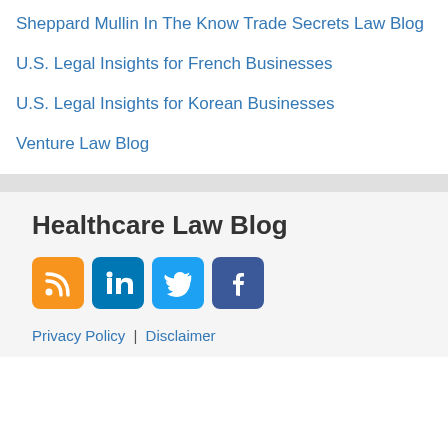Sheppard Mullin In The Know
Trade Secrets Law Blog
U.S. Legal Insights for French Businesses
U.S. Legal Insights for Korean Businesses
Venture Law Blog
Healthcare Law Blog
[Figure (infographic): Social media icons: RSS feed (orange), LinkedIn (blue), Twitter (light blue), Facebook (dark blue)]
Privacy Policy | Disclaimer